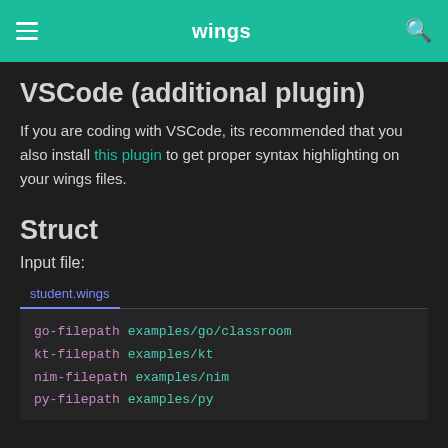wings
VSCode (additional plugin)
If you are coding with VSCode, its recommended that you also install this plugin to get proper syntax highlighting on your wings files.
Struct
Input file:
[Figure (screenshot): Code block showing student.wings file tab with code: go-filepath examples/go/classroom, kt-filepath examples/kt, nim-filepath examples/nim, py-filepath examples/py]